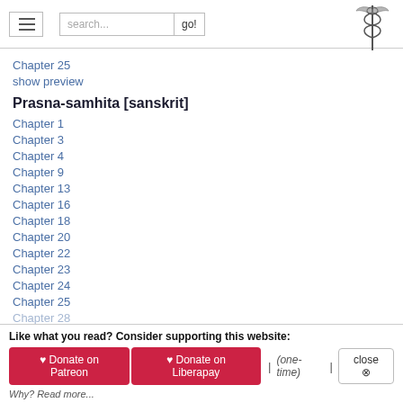search... go!
Chapter 25
show preview
Prasna-samhita [sanskrit]
Chapter 1
Chapter 3
Chapter 4
Chapter 9
Chapter 13
Chapter 16
Chapter 18
Chapter 20
Chapter 22
Chapter 23
Chapter 24
Chapter 25
Chapter 28
Like what you read? Consider supporting this website:
♥ Donate on Patreon  ♥ Donate on Liberapay  |  (one-time)  |  close ✕
Why? Read more...